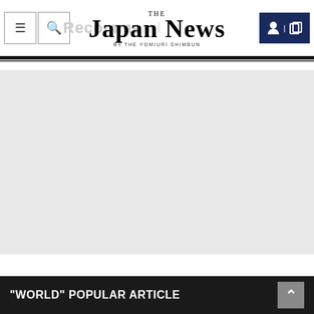THE JAPAN NEWS BY THE YOMIURI SHIMBUN
[Figure (other): Large light gray placeholder area, likely an advertisement or image content area]
"WORLD" POPULAR ARTICLE